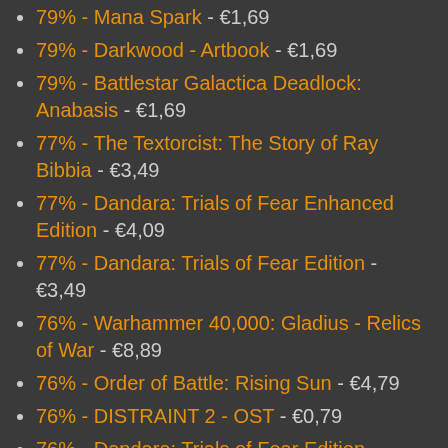79% - Mana Spark - €1,69
79% - Darkwood - Artbook - €1,69
79% - Battlestar Galactica Deadlock: Anabasis - €1,69
77% - The Textorcist: The Story of Ray Bibbia - €3,49
77% - Dandara: Trials of Fear Enhanced Edition - €4,09
77% - Dandara: Trials of Fear Edition - €3,49
76% - Warhammer 40,000: Gladius - Relics of War - €8,89
76% - Order of Battle: Rising Sun - €4,79
76% - DISTRAINT 2 - OST - €0,79
76% - Dandara: Trials of Fear Edition Soundtrack - €1,69
76% - Close Combat: Wacht am Rhein - €8,19
76% - Close Combat: The Longest Day - €8,19
76% - Close Combat: Panthers in the Fog - €8,89